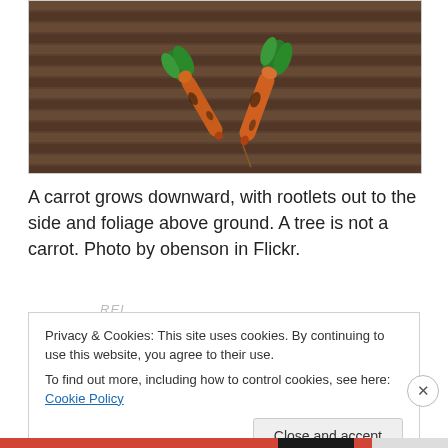[Figure (photo): Two freshly-pulled carrots with green tops and soil, lying on wooden slats. The carrots are orange with dark dirt on them, crossing over each other in a V shape.]
A carrot grows downward, with rootlets out to the side and foliage above ground. A tree is not a carrot. Photo by obenson in Flickr.
Privacy & Cookies: This site uses cookies. By continuing to use this website, you agree to their use.
To find out more, including how to control cookies, see here: Cookie Policy